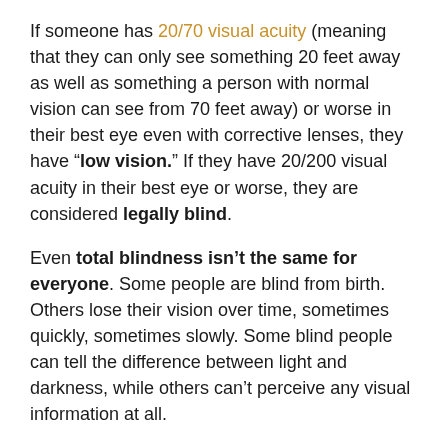If someone has 20/70 visual acuity (meaning that they can only see something 20 feet away as well as something a person with normal vision can see from 70 feet away) or worse in their best eye even with corrective lenses, they have "low vision." If they have 20/200 visual acuity in their best eye or worse, they are considered legally blind.
Even total blindness isn't the same for everyone. Some people are blind from birth. Others lose their vision over time, sometimes quickly, sometimes slowly. Some blind people can tell the difference between light and darkness, while others can't perceive any visual information at all.
What Can We Do To Help?
Every visually impaired person's situation is unique, but what they all have in common is that they are still people who deserve to be treated with respect. Talk to